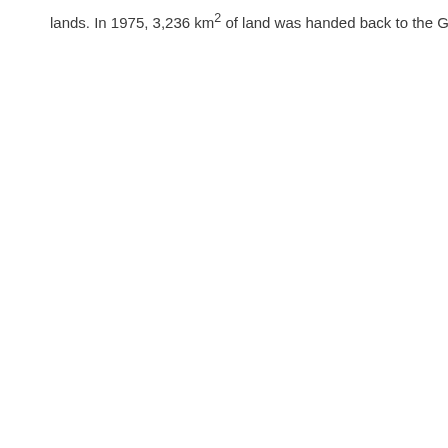lands. In 1975, 3,236 km² of land was handed back to the Gurin